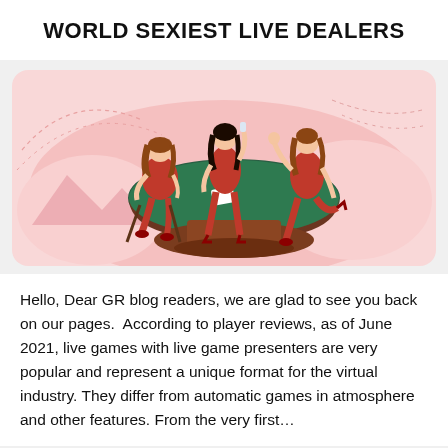WORLD SEXIEST LIVE DEALERS
[Figure (illustration): Illustration of three women in red dresses around a casino card table with a green felt top and dark brown base, set against a pink background with decorative swirls.]
Hello, Dear GR blog readers, we are glad to see you back on our pages.  According to player reviews, as of June 2021, live games with live game presenters are very popular and represent a unique format for the virtual industry. They differ from automatic games in atmosphere and other features. From the very first…